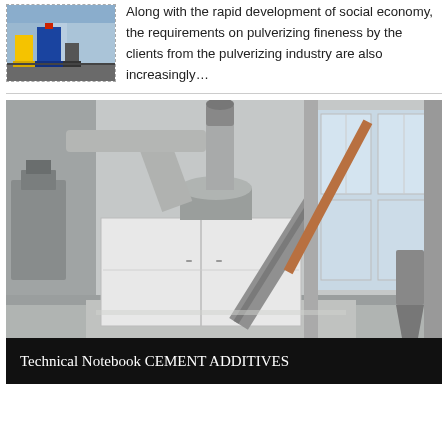[Figure (photo): Small thumbnail photo of industrial pulverizing/grinding equipment on a factory floor, with yellow, blue, and red machinery components visible]
Along with the rapid development of social economy, the requirements on pulverizing fineness by the clients from the pulverizing industry are also increasingly…
[Figure (photo): Large industrial photo of a pulverizing mill machine inside a factory building. White rectangular cabinet unit with ducts and cylindrical separator on top, diagonal pipe/conveyor extending to the right, industrial windows in background.]
Technical Notebook CEMENT ADDITIVES